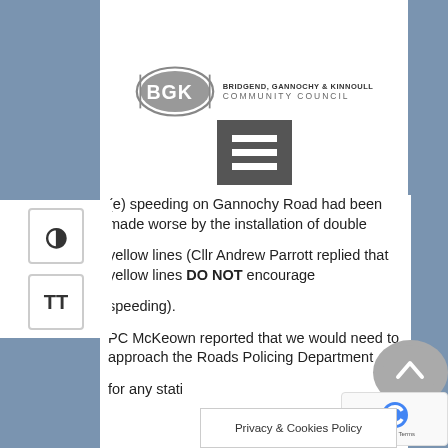[Figure (logo): BGK (Bridgend, Gannochy & Kinnoull Community Council) logo with oval BGK badge and text]
[Figure (other): Dark hamburger/menu icon with three horizontal white lines on grey background]
(e) speeding on Gannochy Road had been made worse by the installation of double yellow lines (Cllr Andrew Parrott replied that yellow lines DO NOT encourage speeding).
PC McKeown reported that we would need to approach the Roads Policing Department for any stati…
Privacy & Cookies Policy